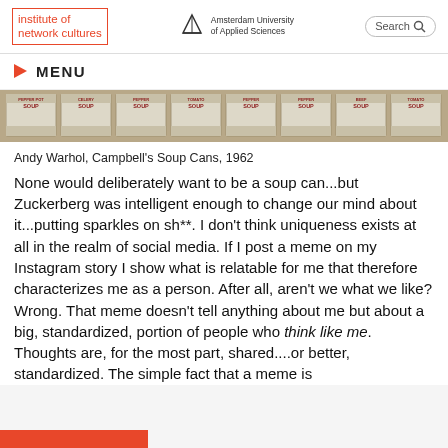institute of network cultures | Amsterdam University of Applied Sciences | Search
MENU
[Figure (photo): Andy Warhol Campbell's Soup Cans art strip showing 8 repeated soup can images in a row]
Andy Warhol, Campbell's Soup Cans, 1962
None would deliberately want to be a soup can...but Zuckerberg was intelligent enough to change our mind about it...putting sparkles on sh**. I don't think uniqueness exists at all in the realm of social media. If I post a meme on my Instagram story I show what is relatable for me that therefore characterizes me as a person. After all, aren't we what we like? Wrong. That meme doesn't tell anything about me but about a big, standardized, portion of people who think like me. Thoughts are, for the most part, shared....or better, standardized. The simple fact that a meme is